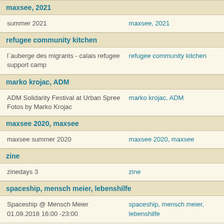maxsee, 2021
| summer 2021 | maxsee, 2021 |
refugee community kitchen
| l`auberge des migrants - calais refugee support camp | refugee community kitchen |
marko krojac, ADM
| ADM Solidarity Festival at Urban Spree Fotos by Marko Krojac | marko krojac, ADM |
maxsee 2020, maxsee
| maxsee summer 2020 | maxsee 2020, maxsee |
zine
| zinedays 3 | zine |
spaceship, mensch meier, lebenshilfe
| Spaceship @ Mensch Meier 01.09.2018 16:00 -23:00 | spaceship, mensch meier, lebenshilfe |
|  | spaceship, mensch meier, |